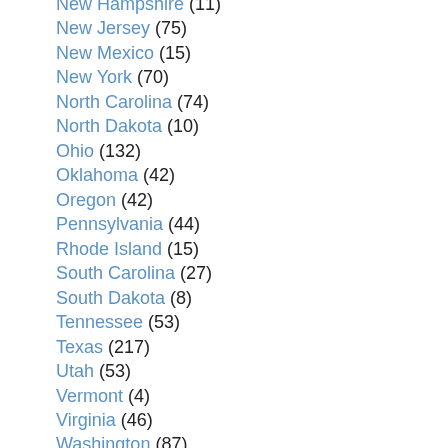New Hampshire (11)
New Jersey (75)
New Mexico (15)
New York (70)
North Carolina (74)
North Dakota (10)
Ohio (132)
Oklahoma (42)
Oregon (42)
Pennsylvania (44)
Rhode Island (15)
South Carolina (27)
South Dakota (8)
Tennessee (53)
Texas (217)
Utah (53)
Vermont (4)
Virginia (46)
Washington (87)
West Virginia (14)
Wisconsin (60)